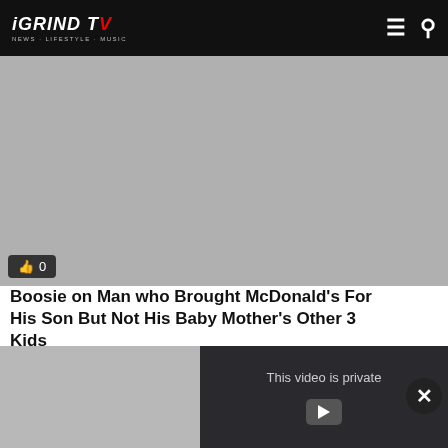iGRIND TV
[Figure (photo): Gray placeholder image for video thumbnail with a like count badge showing thumbs up and 0]
Boosie on Man who Brought McDonald's For His Son But Not His Baby Mother's Other 3 Kids
iGrindTV Staff / JULY 22, 2022
[Figure (screenshot): Gray placeholder image on the left and a dark video player on the right showing 'This video is private' with a YouTube icon]